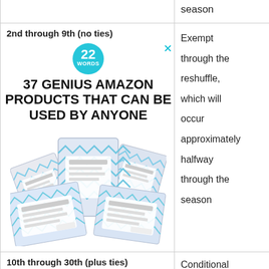season
2nd through 9th (no ties)
[Figure (infographic): Advertisement: 22 Words logo badge (teal circle), headline '37 GENIUS AMAZON PRODUCTS THAT CAN BE USED BY ANYONE', image of packaged wet wipe products, with a teal X close button]
Exempt through the reshuffle, which will occur approximately halfway through the season
10th through 30th (plus ties)
Conditional membership